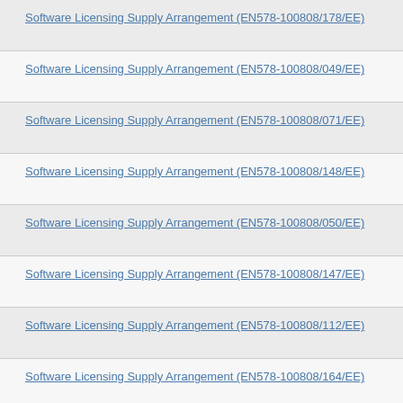Software Licensing Supply Arrangement (EN578-100808/178/EE)
Software Licensing Supply Arrangement (EN578-100808/049/EE)
Software Licensing Supply Arrangement (EN578-100808/071/EE)
Software Licensing Supply Arrangement (EN578-100808/148/EE)
Software Licensing Supply Arrangement (EN578-100808/050/EE)
Software Licensing Supply Arrangement (EN578-100808/147/EE)
Software Licensing Supply Arrangement (EN578-100808/112/EE)
Software Licensing Supply Arrangement (EN578-100808/164/EE)
Software Licensing Supply Arrangement (EN578-100808/143/EE)